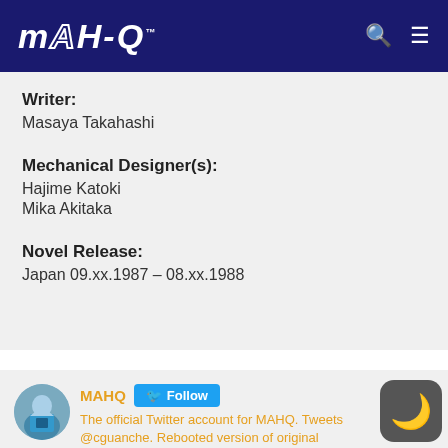MAHQ
Writer:
Masaya Takahashi
Mechanical Designer(s):
Hajime Katoki
Mika Akitaka
Novel Release:
Japan 09.xx.1987 – 08.xx.1988
[Figure (screenshot): Twitter widget showing MAHQ account with Follow button and description: The official Twitter account for MAHQ. Tweets @cguanche. Rebooted version of original account. See also @gundampatmahq]